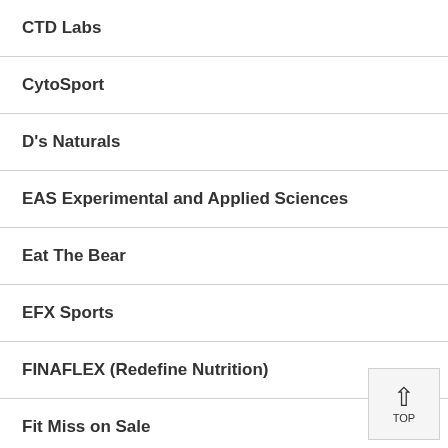CTD Labs
CytoSport
D's Naturals
EAS Experimental and Applied Sciences
Eat The Bear
EFX Sports
FINAFLEX (Redefine Nutrition)
Fit Miss on Sale